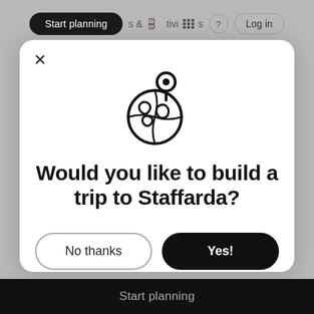[Figure (screenshot): Travel planning app UI showing a modal dialog asking 'Would you like to build a trip to Staffarda?' with 'No thanks' and 'Yes!' buttons, a globe with location pin icon, a close (X) button, and a dark 'Start planning' bar at the bottom. The background shows a navigation bar with 'Start planning', activities icons, help icon, and 'Log in' button.]
Would you like to build a trip to Staffarda?
No thanks
Yes!
Start planning